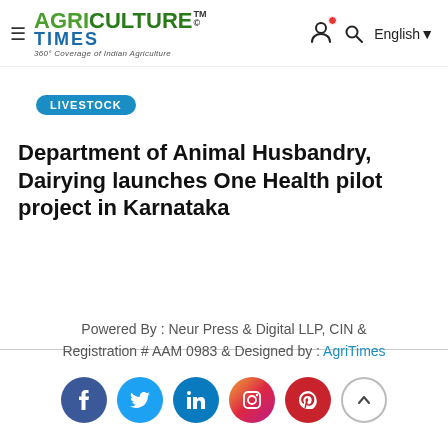Agriculture Times — 360° Coverage of Indian Agriculture | English
LIVESTOCK
Department of Animal Husbandry, Dairying launches One Health pilot project in Karnataka
Powered By : Neur Press & Digital LLP, CIN & Registration # AAM 0983 & Designed by : AgriTimes